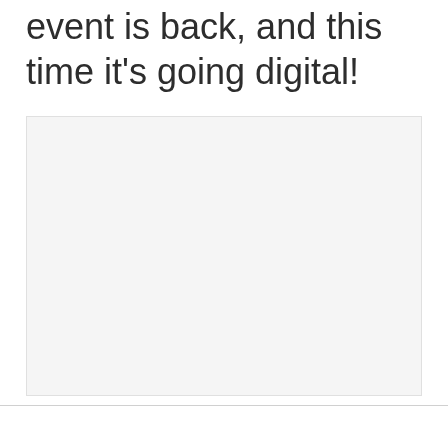event is back, and this time it's going digital!
[Figure (other): Large light gray rectangular placeholder/image area with a light background (#f5f5f5), bordered by a thin light gray border.]